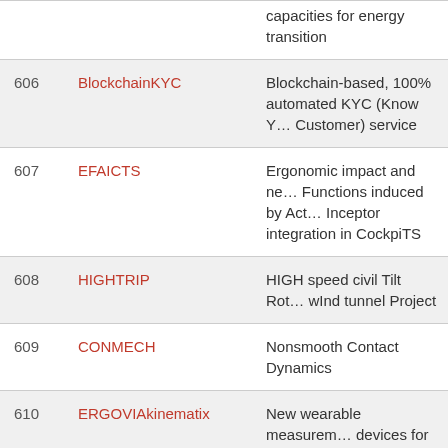| # | Name | Description |
| --- | --- | --- |
|  |  | capacities for energy transition |
| 606 | BlockchainKYC | Blockchain-based, 100% automated KYC (Know Your Customer) service |
| 607 | EFAICTS | Ergonomic impact and new Functions induced by Active Inceptor integration in CockpiTS |
| 608 | HIGHTRIP | HIGH speed civil Tilt Rotor wInd tunnel Project |
| 609 | CONMECH | Nonsmooth Contact Dynamics |
| 610 | ERGOVIAkinematix | New wearable measurement devices for Industry 4.0 based on gaming motion capture system |